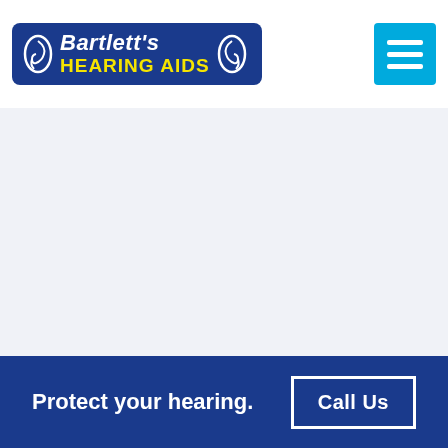[Figure (logo): Bartlett's Hearing Aids logo on blue rounded rectangle background with ear icons on either side, white italic text 'Bartlett's' and yellow bold uppercase 'HEARING AIDS']
[Figure (other): Cyan/blue hamburger menu button with three white horizontal lines]
[Figure (other): Light grey background section with repeated faint ear watermark pattern]
Protect your hearing.
Call Us